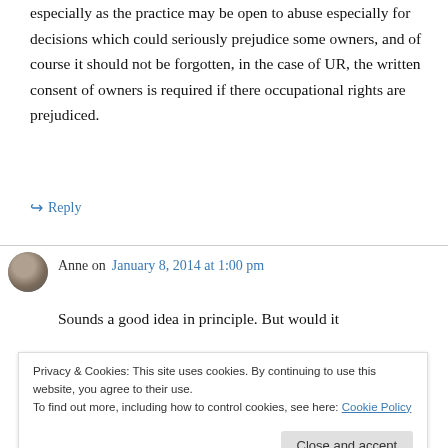especially as the practice may be open to abuse especially for decisions which could seriously prejudice some owners, and of course it should not be forgotten, in the case of UR, the written consent of owners is required if there occupational rights are prejudiced.
↪ Reply
Anne on January 8, 2014 at 1:00 pm
Sounds a good idea in principle. But would it
Privacy & Cookies: This site uses cookies. By continuing to use this website, you agree to their use.
To find out more, including how to control cookies, see here: Cookie Policy
Close and accept
around). The process of circulating the interim